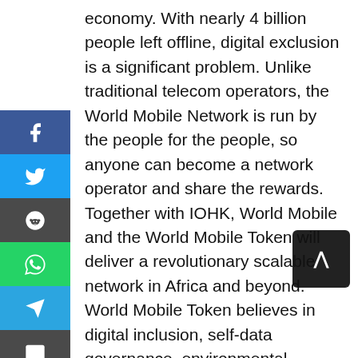economy. With nearly 4 billion people left offline, digital exclusion is a significant problem. Unlike traditional telecom operators, the World Mobile Network is run by the people for the people, so anyone can become a network operator and share the rewards. Together with IOHK, World Mobile and the World Mobile Token will deliver a revolutionary scalable network in Africa and beyond. World Mobile Token believes in digital inclusion, self-data governance, environmental sustainability, decentralized identity, and financial empowerment for all.
To find out more visit: www.worldmobiletoken.com
About Bitrue:
Bitrue exchange is established by a group of blockchain